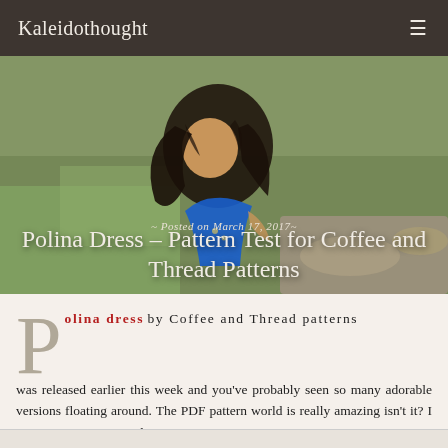Kaleidothought
[Figure (photo): A young girl with dark hair wearing a blue dress, photographed outdoors in a natural setting with green grass and rocks in the background.]
Posted on March 17, 2017
Polina Dress – Pattern Test for Coffee and Thread Patterns
Polina dress by Coffee and Thread patterns was released earlier this week and you've probably seen so many adorable versions floating around. The PDF pattern world is really amazing isn't it? I mean so many woven dress